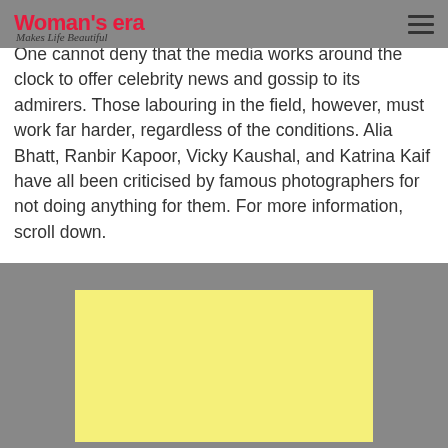Woman's era — Makes Life Beautiful
One cannot deny that the media works around the clock to offer celebrity news and gossip to its admirers. Those labouring in the field, however, must work far harder, regardless of the conditions. Alia Bhatt, Ranbir Kapoor, Vicky Kaushal, and Katrina Kaif have all been criticised by famous photographers for not doing anything for them. For more information, scroll down.
[Figure (other): Yellow advertisement block placeholder]